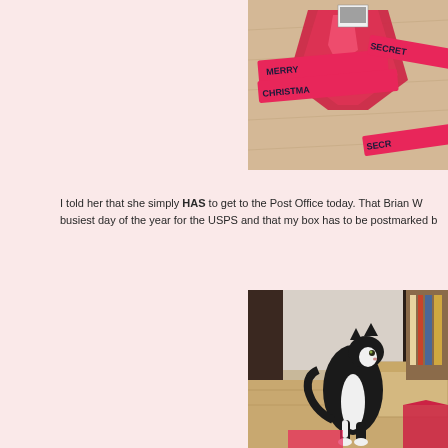[Figure (photo): Photo of red shiny gift bags with pink ribbons labeled 'MERRY CHRISTMAS' and 'SECRET' on a wooden floor surface]
I told her that she simply HAS to get to the Post Office today. That Brian W busiest day of the year for the USPS and that my box has to be postmarked b
[Figure (photo): Photo of a black and white tuxedo cat standing on a wooden floor next to a cardboard box and red gift bags]